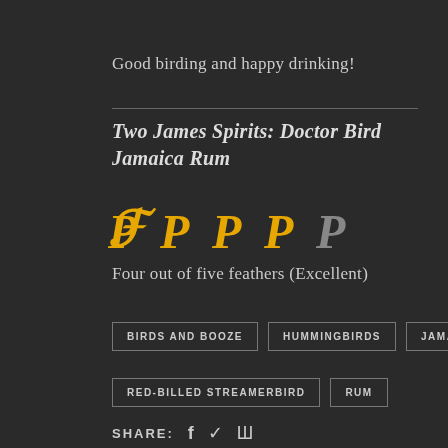Good birding and happy drinking!
Two James Spirits: Doctor Bird Jamaica Rum
[Figure (other): Five feather rating icons: four filled gold feathers and one outline/empty feather, representing a rating of four out of five feathers]
Four out of five feathers (Excellent)
BIRDS AND BOOZE  HUMMINGBIRDS  JAMAICA  RED-BILLED STREAMERBIRD  RUM
SHARE: f  (Twitter icon)  (Stumbleupon icon)